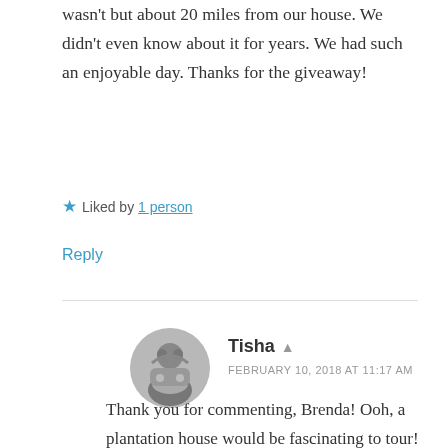wasn't but about 20 miles from our house. We didn't even know about it for years. We had such an enjoyable day. Thanks for the giveaway!
★ Liked by 1 person
Reply
Tisha  FEBRUARY 10, 2018 AT 11:17 AM
Thank you for commenting, Brenda! Ooh, a plantation house would be fascinating to tour! There is a rock museum and a home that was built in the late 1800s by a family who started a seed corn company around my area, and it's the neatest little place. I've been at least a